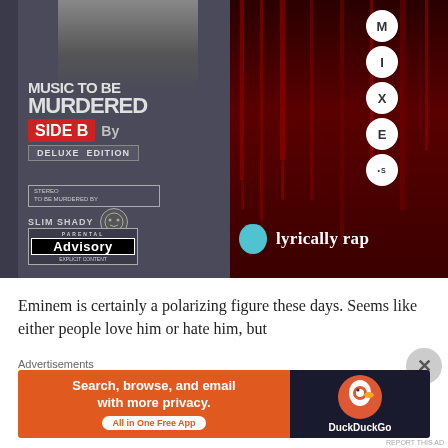[Figure (photo): Album cover of Eminem's 'Music To Be Murdered By - Side B (Deluxe Edition)' on left, with blood-drip background on right and 'lyrically rap' branding with guitar pick icon. Circles with letters M, I, X, E, S arranged vertically on right side.]
Eminem is certainly a polarizing figure these days. Seems like either people love him or hate him, but
Advertisements
[Figure (screenshot): DuckDuckGo advertisement banner: 'Search, browse, and email with more privacy. All in One Free App' with DuckDuckGo logo on orange and dark background.]